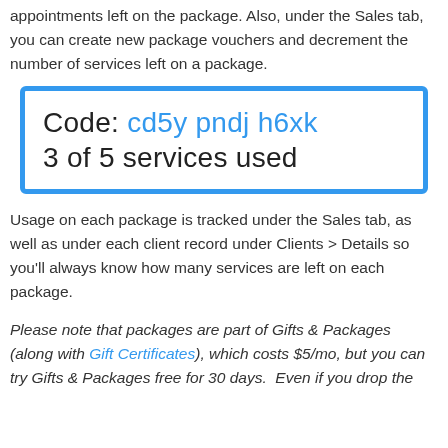appointments left on the package. Also, under the Sales tab, you can create new package vouchers and decrement the number of services left on a package.
[Figure (screenshot): A voucher card with blue border showing: Code: cd5y pndj h6xk and 3 of 5 services used]
Usage on each package is tracked under the Sales tab, as well as under each client record under Clients > Details so you'll always know how many services are left on each package.
Please note that packages are part of Gifts & Packages (along with Gift Certificates), which costs $5/mo, but you can try Gifts & Packages free for 30 days.  Even if you drop the